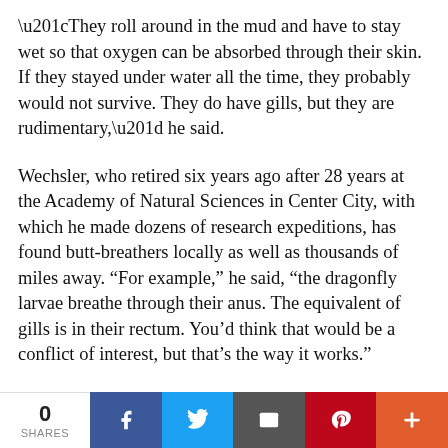“They roll around in the mud and have to stay wet so that oxygen can be absorbed through their skin. If they stayed under water all the time, they probably would not survive. They do have gills, but they are rudimentary,” he said.
Wechsler, who retired six years ago after 28 years at the Academy of Natural Sciences in Center City, with which he made dozens of research expeditions, has found butt-breathers locally as well as thousands of miles away. “For example,” he said, “the dragonfly larvae breathe through their anus. The equivalent of gills is in their rectum. You’d think that would be a conflict of interest, but that’s the way it works.”
Wechsler grew up in Oyster Bay, Long Island, and